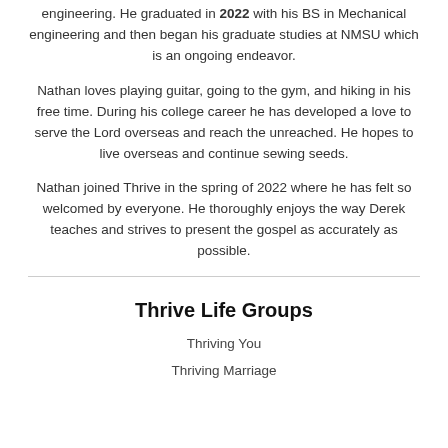engineering. He graduated in 2022 with his BS in Mechanical engineering and then began his graduate studies at NMSU which is an ongoing endeavor.
Nathan loves playing guitar, going to the gym, and hiking in his free time. During his college career he has developed a love to serve the Lord overseas and reach the unreached. He hopes to live overseas and continue sewing seeds.
Nathan joined Thrive in the spring of 2022 where he has felt so welcomed by everyone. He thoroughly enjoys the way Derek teaches and strives to present the gospel as accurately as possible.
Thrive Life Groups
Thriving You
Thriving Marriage